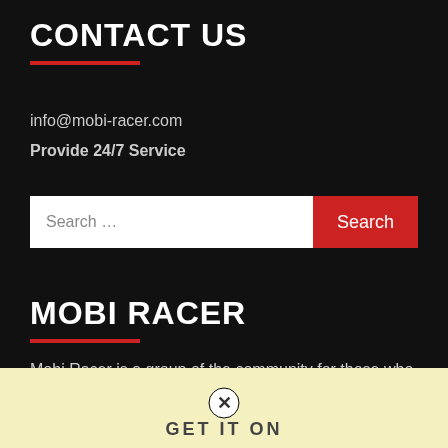CONTACT US
info@mobi-racer.com
Provide 24/7 Service
[Figure (other): Search bar with text input 'Search ...' and a red 'Search' button]
MOBI RACER
Mobi Racer is a group of the community for those who like to watch games & Movies